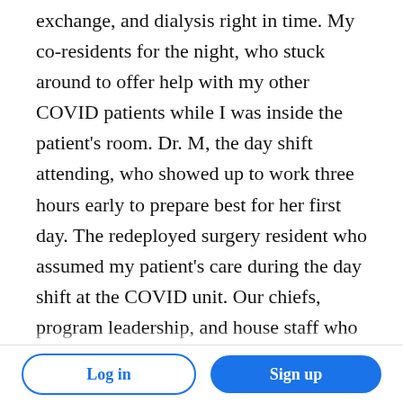exchange, and dialysis right in time. My co-residents for the night, who stuck around to offer help with my other COVID patients while I was inside the patient's room. Dr. M, the day shift attending, who showed up to work three hours early to prepare best for her first day. The redeployed surgery resident who assumed my patient's care during the day shift at the COVID unit. Our chiefs, program leadership, and house staff who worked day and night to accommodate escalating demands mandated by the pandemic. All efforts seemed to fall right in place to save my patient's life.
Log in | Sign up